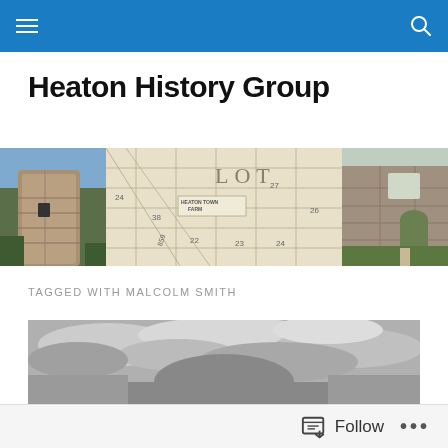Heaton History Group - navigation bar with hamburger menu and search icon
Heaton History Group
[Figure (photo): Composite banner image with three panels: a stone tower on the left, an old land survey map in the center with text 'HEATON TOWN FARM' and 'LOT', and ruins of a stone castle/wall on the right with a grassy courtyard.]
TAGGED WITH MALCOLM SMITH
[Figure (photo): Black and white photograph showing a building with an arched or domed structure under a cloudy sky, partially cut off at the bottom of the page.]
Follow   ...